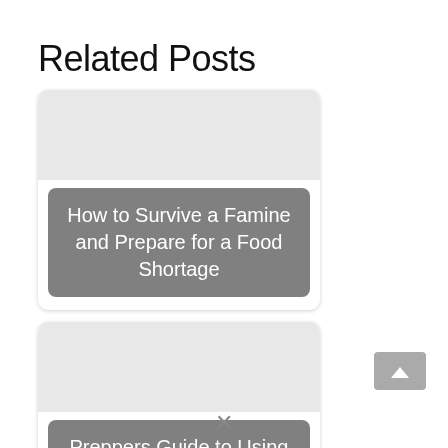Related Posts
[Figure (other): Card image placeholder area (light gray rectangle) for 'How to Survive a Famine and Prepare for a Food Shortage' post]
How to Survive a Famine and Prepare for a Food Shortage
[Figure (other): Card image placeholder area (light gray rectangle) for 'Preppers Guide to Using Fish Antibiotics for Human...' post]
Preppers Guide to Using Fish Antibiotics for Human...